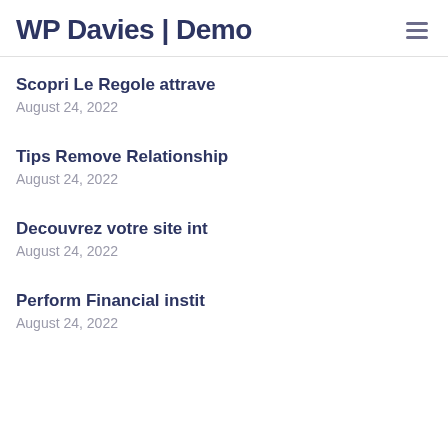WP Davies | Demo
Scopri Le Regole attrave
August 24, 2022
Tips Remove Relationship
August 24, 2022
Decouvrez votre site int
August 24, 2022
Perform Financial instit
August 24, 2022